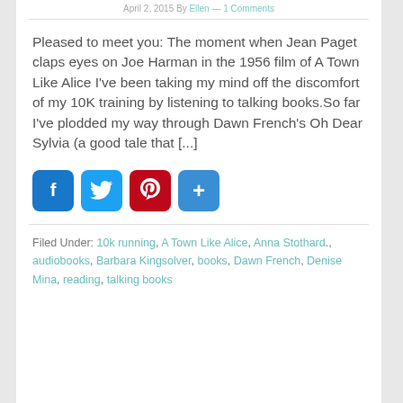April 2, 2015 By Ellen — 1 Comments
Pleased to meet you: The moment when Jean Paget claps eyes on Joe Harman in the 1956 film of A Town  Like Alice I've been taking my mind off the discomfort of my 10K training by listening to talking books.So far I've plodded my way through Dawn French's Oh Dear Sylvia (a good tale that [...]
[Figure (infographic): Social share buttons: Facebook (blue), Twitter (blue), Pinterest (red), Add/share (blue)]
Filed Under: 10k running, A Town Like Alice, Anna Stothard., audiobooks, Barbara Kingsolver, books, Dawn French, Denise Mina, reading, talking books